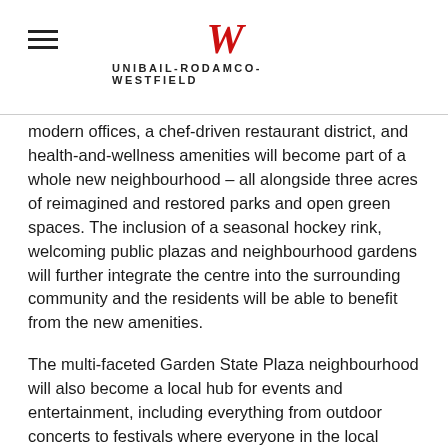UNIBAIL-RODAMCO-WESTFIELD
modern offices, a chef-driven restaurant district, and health-and-wellness amenities will become part of a whole new neighbourhood – all alongside three acres of reimagined and restored parks and open green spaces. The inclusion of a seasonal hockey rink, welcoming public plazas and neighbourhood gardens will further integrate the centre into the surrounding community and the residents will be able to benefit from the new amenities.
The multi-faceted Garden State Plaza neighbourhood will also become a local hub for events and entertainment, including everything from outdoor concerts to festivals where everyone in the local community can come together to meet up with family and friends.
“This is about community building. Garden State Plaza’s new public park will be a centrepiece and lead to an open-air plaza and adjoining fields, and the destination’s new residential neighbourhood will feature tree-lined streets and outdoor